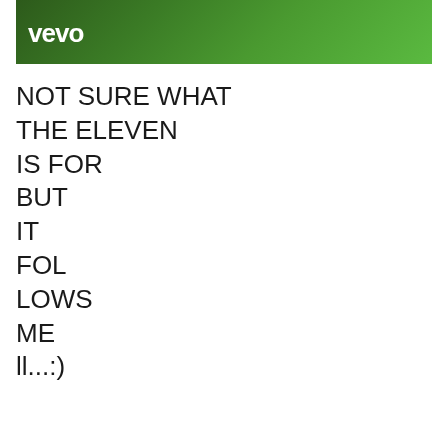[Figure (screenshot): Vevo video thumbnail showing a person with dark hair against green foliage background, with Vevo logo in white text]
NOT SURE WHAT
THE ELEVEN
IS FOR
BUT
IT
FOL
LOWS
ME
ll...:)
[Figure (screenshot): YouTube video embed showing Katy Perry - Firework (Offic... with thumbnail of Katy Perry in a sparkler scene with play button overlay]